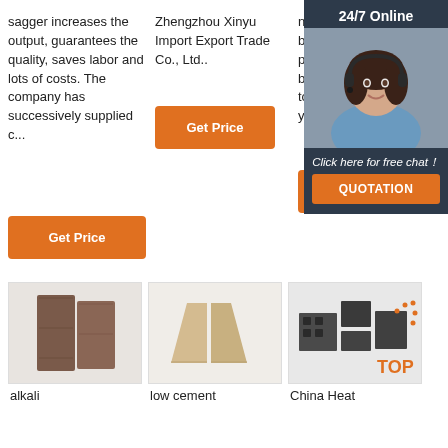sagger increases the output, guarantees the quality, saves labor and lots of costs. The company has successively supplied c...
Zhengzhou Xinyu Import Export Trade Co., Ltd..
not only fruitful but also profitable. We've been prepared to provide what y...
[Figure (screenshot): Orange 'Get Price' button, column 2]
[Figure (screenshot): Orange 'Get' button partially visible, column 3]
[Figure (screenshot): Orange 'Get Price' button, column 1]
[Figure (photo): Photo of dark brown refractory bricks]
alkali
[Figure (photo): Photo of beige/cream low cement refractory bricks]
low cement
[Figure (photo): Photo of dark grey China Heat refractory products with TOP badge]
China Heat
[Figure (infographic): 24/7 Online chat widget with operator photo and 'Click here for free chat!' text and QUOTATION button]